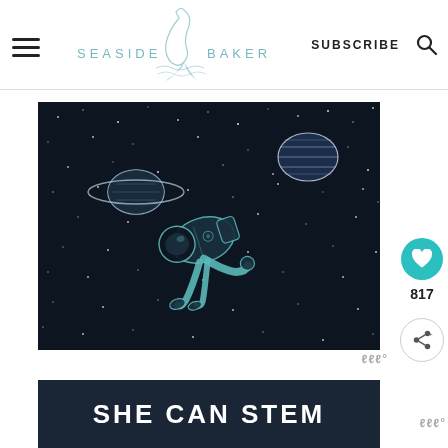The Seaside Baker — SUBSCRIBE
[Figure (illustration): Dark space illustration with a floating astronaut in teal line-art style, Saturn-like planet on the left, striped planet on the upper right, and many white dots as stars on a deep navy/black background.]
SHE CAN STEM